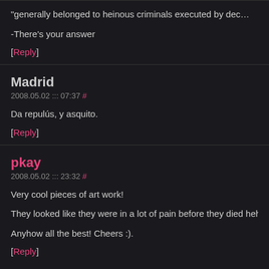"generally belonged to heinous criminals executed by dec…
-There's your answer
[Reply]
Madrid
2008.05.02 ::: 07:37 #
Da repulús, y asquito.
[Reply]
pkay
2008.05.02 ::: 23:32 #
Very cool pieces of art work!
They looked like they were in a lot of pain before they died heh…
Anyhow all the best! Cheers :).
[Reply]